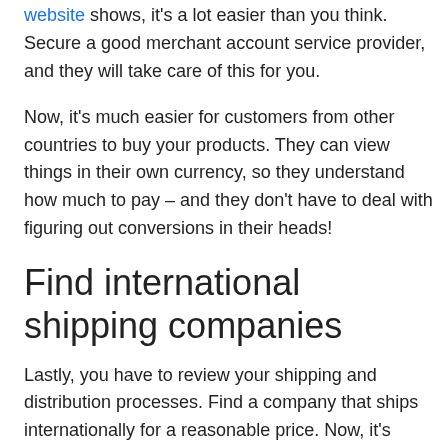website shows, it's a lot easier than you think. Secure a good merchant account service provider, and they will take care of this for you.
Now, it's much easier for customers from other countries to buy your products. They can view things in their own currency, so they understand how much to pay – and they don't have to deal with figuring out conversions in their heads!
Find international shipping companies
Lastly, you have to review your shipping and distribution processes. Find a company that ships internationally for a reasonable price. Now, it's possible to get your products sent out all over the world. Ideally, you want a service provider who gives you multiple options…